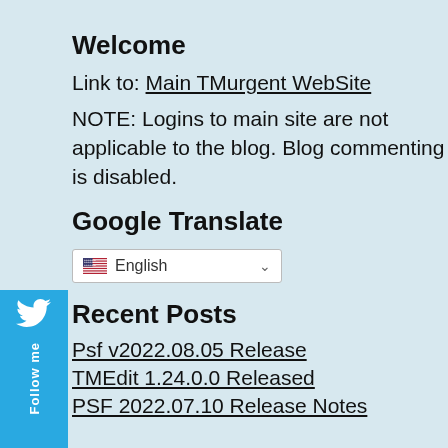Welcome
Link to: Main TMurgent WebSite
NOTE: Logins to main site are not applicable to the blog. Blog commenting is disabled.
Google Translate
[Figure (screenshot): Google Translate language selector dropdown showing English with US flag]
Recent Posts
Psf v2022.08.05 Release
TMEdit 1.24.0.0 Released
PSF 2022.07.10 Release Notes